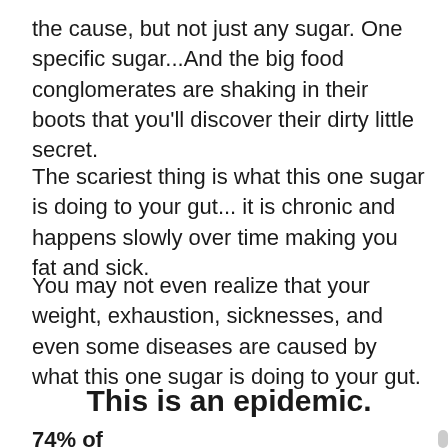the cause, but not just any sugar. One specific sugar...And the big food conglomerates are shaking in their boots that you’ll discover their dirty little secret.
The scariest thing is what this one sugar is doing to your gut... it is chronic and happens slowly over time making you fat and sick.
You may not even realize that your weight, exhaustion, sicknesses, and even some diseases are caused by what this one sugar is doing to your gut.
This is an epidemic.
74% of